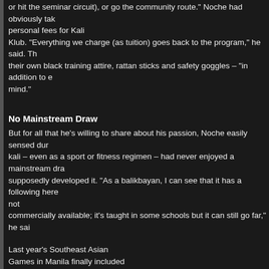or hit the seminar circuit), or go the community route." Noche had obviously tak personal fees for Kali Klub. "Everything we charge (as tuition) goes back to the program," he said. Th their own black training attire, rattan sticks and safety goggles – "in addition to e mind."
No Mainstream Draw
But for all that he's willing to share about his passion, Noche easily sensed dur kali – even as a sport or fitness regimen – had never enjoyed a mainstream dra supposedly developed it. "As a balikbayan, I can see that it has a following here not commercially available; it's taught in some schools but it can still go far," he sai
Last year's Southeast Asian Games in Manila finally included arnis – but this "new" event hardly got any media coverage. While Filipinos won three gold medals in arnis, the home reserved its loudest cheers for the other more popular fighting disciplines, espe kwon do.
Also, no local movie star has been able to popularize arnis the way a Bruce Le a Jackie Chan brought Chinese martial arts to the world. And yet here now is N reporting that "kay-lee" has entered Hollywood lore.
But Noche has made sure no student of his mispronounces anything: even with